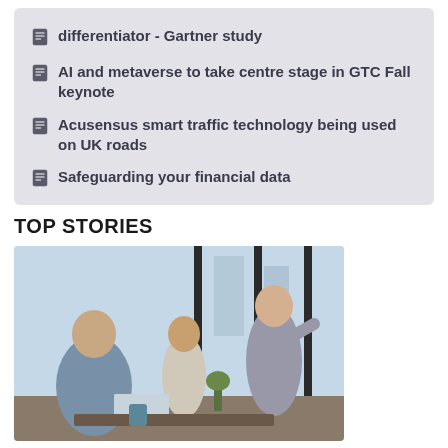differentiator - Gartner study
AI and metaverse to take centre stage in GTC Fall keynote
Acusensus smart traffic technology being used on UK roads
Safeguarding your financial data
TOP STORIES
[Figure (photo): Three people in a modern office setting having a discussion near large windows. A man in a blue shirt sits in the foreground, a woman with glasses gestures while speaking, and another person stands in the background.]
TECH JOB MOVES